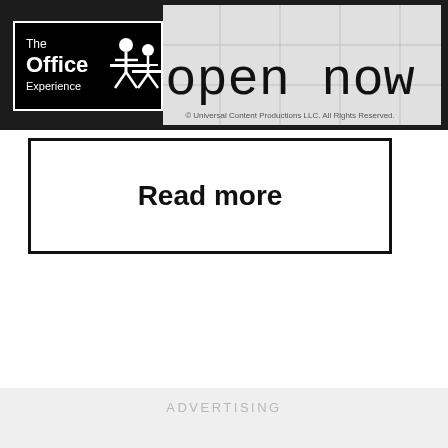[Figure (logo): The Office Experience logo banner with 'open now' text on a dark background. Logo shows 'The Office Experience' in white text with an icon of a person at a desk. 'open now' is displayed in large typewriter font. Copyright line reads: © Universal Content Productions LLC. All Rights Reserved.]
Read more
ADVERTISING